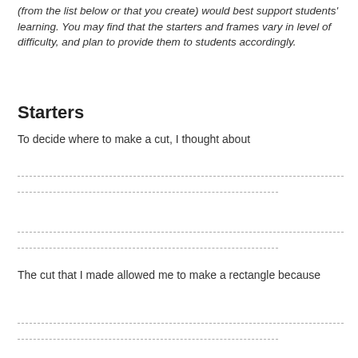(from the list below or that you create) would best support students' learning. You may find that the starters and frames vary in level of difficulty, and plan to provide them to students accordingly.
Starters
To decide where to make a cut, I thought about
The cut that I made allowed me to make a rectangle because